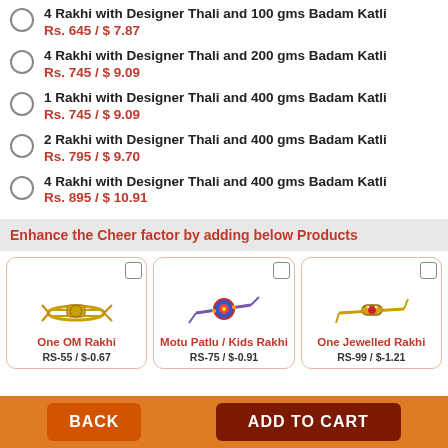4 Rakhi with Designer Thali and 100 gms Badam Katli
Rs. 645 / $ 7.87
4 Rakhi with Designer Thali and 200 gms Badam Katli
Rs. 745 / $ 9.09
1 Rakhi with Designer Thali and 400 gms Badam Katli
Rs. 745 / $ 9.09
2 Rakhi with Designer Thali and 400 gms Badam Katli
Rs. 795 / $ 9.70
4 Rakhi with Designer Thali and 400 gms Badam Katli
Rs. 895 / $ 10.91
Enhance the Cheer factor by adding below Products
[Figure (photo): One OM Rakhi product image]
One OM Rakhi
RS-55 / $-0.67
[Figure (photo): Motu Patlu / Kids Rakhi product image]
Motu Patlu / Kids Rakhi
RS-75 / $-0.91
[Figure (photo): One Jewelled Rakhi product image]
One Jewelled Rakhi
RS-99 / $-1.21
BACK
ADD TO CART